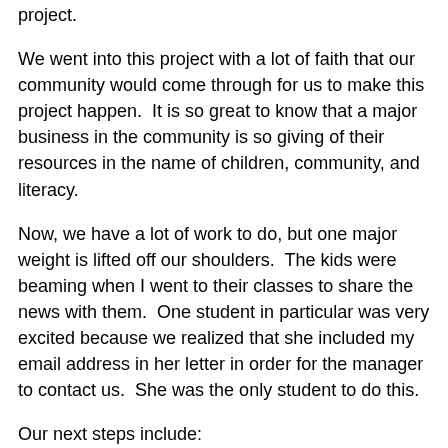project.
We went into this project with a lot of faith that our community would come through for us to make this project happen.  It is so great to know that a major business in the community is so giving of their resources in the name of children, community, and literacy.
Now, we have a lot of work to do, but one major weight is lifted off our shoulders.  The kids were beaming when I went to their classes to share the news with them.  One student in particular was very excited because we realized that she included my email address in her letter in order for the manager to contact us.  She was the only student to do this.
Our next steps include: